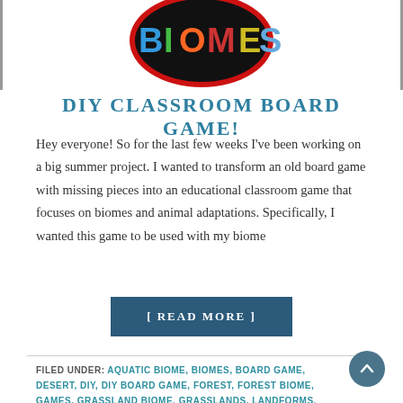[Figure (logo): Biomes colorful logo on black heart/shield shape with letters B-I-O-M-E-S in multiple colors, red border]
DIY CLASSROOM BOARD GAME!
Hey everyone! So for the last few weeks I've been working on a big summer project. I wanted to transform an old board game with missing pieces into an educational classroom game that focuses on biomes and animal adaptations. Specifically, I wanted this game to be used with my biome
[ READ MORE ]
FILED UNDER: AQUATIC BIOME, BIOMES, BOARD GAME, DESERT, DIY, DIY BOARD GAME, FOREST, FOREST BIOME, GAMES, GRASSLAND BIOME, GRASSLANDS, LANDFORMS, TUNDRA, TUNDRA BIOME